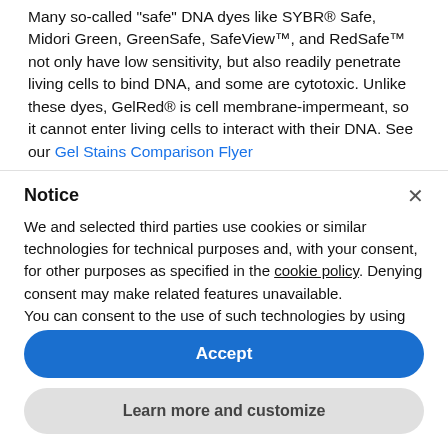Many so-called "safe" DNA dyes like SYBR® Safe, Midori Green, GreenSafe, SafeView™, and RedSafe™ not only have low sensitivity, but also readily penetrate living cells to bind DNA, and some are cytotoxic. Unlike these dyes, GelRed® is cell membrane-impermeant, so it cannot enter living cells to interact with their DNA. See our Gel Stains Comparison Flyer
Notice
We and selected third parties use cookies or similar technologies for technical purposes and, with your consent, for other purposes as specified in the cookie policy. Denying consent may make related features unavailable.
You can consent to the use of such technologies by using the "Accept" button, by closing this notice, by interacting with any link or button outside of this notice or by continuing to browse otherwise.
Accept
Learn more and customize